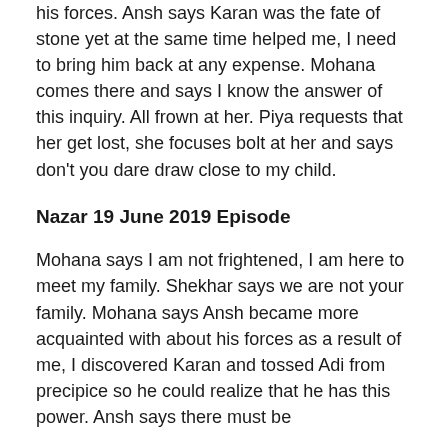his forces. Ansh says Karan was the fate of stone yet at the same time helped me, I need to bring him back at any expense. Mohana comes there and says I know the answer of this inquiry. All frown at her. Piya requests that her get lost, she focuses bolt at her and says don't you dare draw close to my child.
Nazar 19 June 2019 Episode
Mohana says I am not frightened, I am here to meet my family. Shekhar says we are not your family. Mohana says Ansh became more acquainted with about his forces as a result of me, I discovered Karan and tossed Adi from precipice so he could realize that he has this power. Ansh says there must be